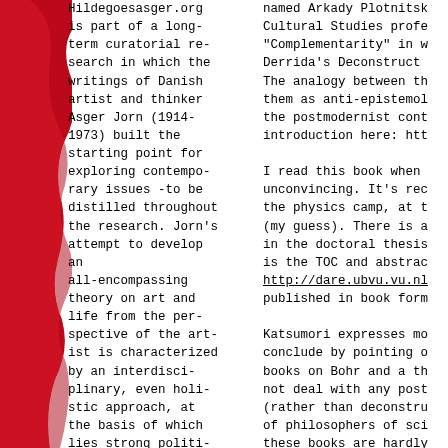[Figure (illustration): Red abstract blob/silhouette shape on the left edge of the page]
Hildegoesasger.org is part of a long-term curatorial research in which the writings of Danish artist and thinker Asger Jorn (1914-1973) built the starting point for exploring contemporary issues -to be distilled throughout the research. Jorn's attempt to develop an all-encompassing theory on art and life from the perspective of the artist is characterized by an interdisciplinary, even holistic approach, at the basis of which lies strong political/ethical engagement. His methodological approach to writing transgresses established modes of
named Arkady Plotnitsk Cultural Studies profe "Complementarity" in w Derrida's Deconstruct The analogy between th them as anti-epistemol the postmodernist cont introduction here: htt

I read this book when unconvincing. It's rec the physics camp, at t (my guess). There is a in the doctoral thesis is the TOC and abstrac http://dare.ubvu.vu.nl published in book form

Katsumori expresses mo conclude by pointing o books on Bohr and a th not deal with any post (rather than deconstru of philosophers of sci these books are hardly will spare you any mor shares with him (and w that Bohr's Complement novelty of metaphysica proportions. This happ what, I believe, I can